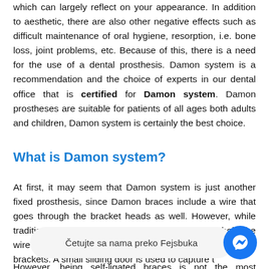which can largely reflect on your appearance. In addition to aesthetic, there are also other negative effects such as difficult maintenance of oral hygiene, resorption, i.e. bone loss, joint problems, etc. Because of this, there is a need for the use of a dental prosthesis. Damon system is a recommendation and the choice of experts in our dental office that is certified for Damon system. Damon prostheses are suitable for patients of all ages both adults and children, Damon system is certainly the best choice.
What is Damon system?
At first, it may seem that Damon system is just another fixed prosthesis, since Damon braces include a wire that goes through the bracket heads as well. However, while traditional, regular braces require a rubber tie to hold the wire in the bracket slot, Damon braces are self-ligated brackets. A small sliding door is used to capture t...
However, being self-ligated braces is not the most important feature of Damon system. In fact, there is a